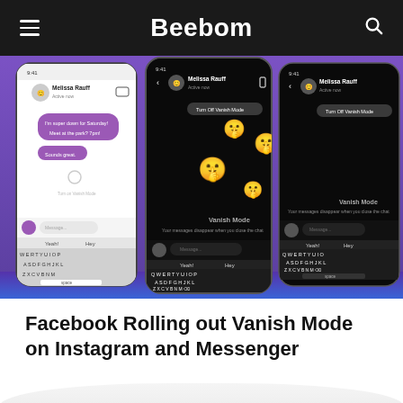Beebom
[Figure (screenshot): Three smartphone screenshots showing Facebook Messenger's Vanish Mode feature. Left phone shows a normal light-mode chat with Melissa Rauff. Middle and right phones show dark Vanish Mode screens with floating emoji (shushing face) and a 'Turn Off Vanish Mode' button, along with 'Vanish Mode - Your messages disappear when you close the chat' text and a keyboard.]
Facebook Rolling out Vanish Mode on Instagram and Messenger